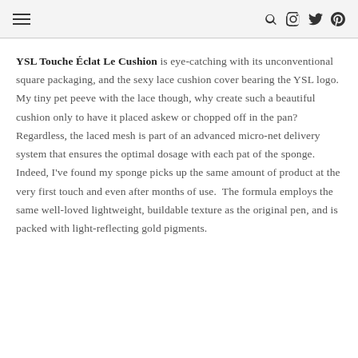≡  🔍 Instagram Twitter Pinterest
YSL Touche Éclat Le Cushion is eye-catching with its unconventional square packaging, and the sexy lace cushion cover bearing the YSL logo.  My tiny pet peeve with the lace though, why create such a beautiful cushion only to have it placed askew or chopped off in the pan?  Regardless, the laced mesh is part of an advanced micro-net delivery system that ensures the optimal dosage with each pat of the sponge.  Indeed, I've found my sponge picks up the same amount of product at the very first touch and even after months of use.  The formula employs the same well-loved lightweight, buildable texture as the original pen, and is packed with light-reflecting gold pigments.